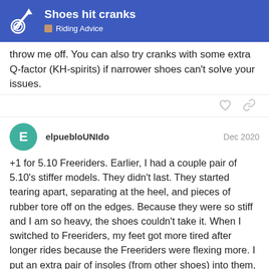Shoes hit cranks — Riding Advice
throw me off. You can also try cranks with some extra Q-factor (KH-spirits) if narrower shoes can't solve your issues.
elpuebloUNIdo  Dec 2020
+1 for 5.10 Freeriders. Earlier, I had a couple pair of 5.10's stiffer models. They didn't last. They started tearing apart, separating at the heel, and pieces of rubber tore off on the edges. Because they were so stiff and I am so heavy, the shoes couldn't take it. When I switched to Freeriders, my feet got more tired after longer rides because the Freeriders were flexing more. I put an extra pair of insoles (from other shoes) into them, and that helped. I am on my second pair of Freeriders, now. The first pair wore down at the ball of my foot until the Other that that expected wear, nothing else
3 / 16